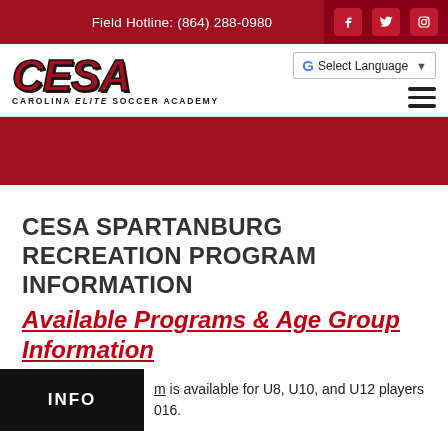Field Hotline: (864) 288-0980
[Figure (logo): CESA Carolina Elite Soccer Academy logo with stylized red italic lettering]
Select Language
CESA SPARTANBURG RECREATION PROGRAM INFORMATION
Available Programs & Age Group Information
m is available for U8, U10, and U12 players 016.